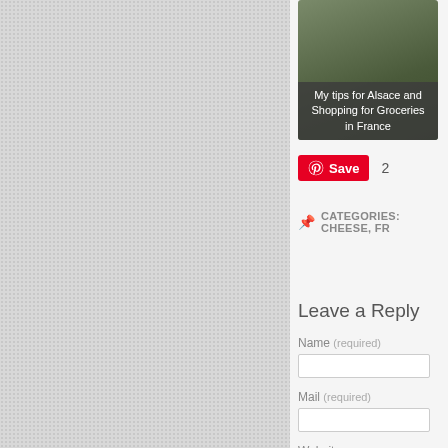[Figure (photo): Textured grey background panel on left side of page]
[Figure (screenshot): Image card with dark overlay showing text: My tips for Alsace and Shopping for Groceries in France]
My tips for Alsace and Shopping for Groceries in France
Save  2
CATEGORIES: CHEESE, FR...
Leave a Reply
Name (required)
Mail (required)
Website